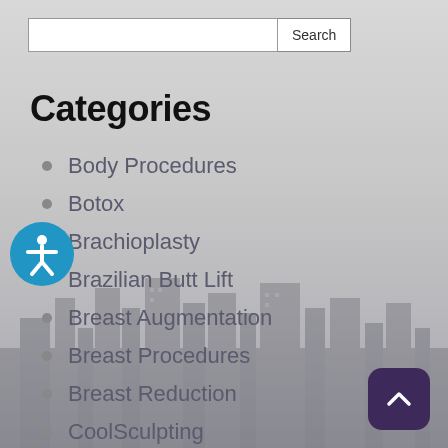[Figure (screenshot): Search bar with text input and Search button]
Categories
Body Procedures
Botox
Brachioplasty
Brazilian Butt Lift
Breast Augmentation
Breast Procedures
Breast Reduction
CoolSculpting
CoolTone
Dermal Fillers
Eyelid Surgery
Face Procedures
Facelift